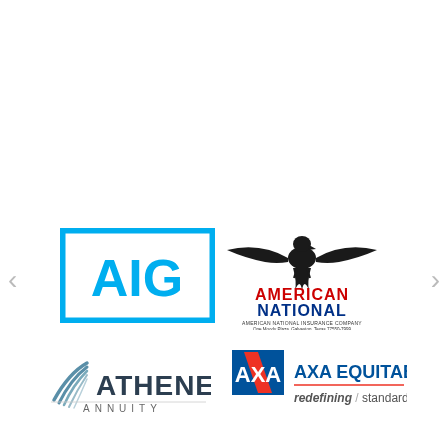[Figure (logo): AIG logo — blue square border with AIG text in blue]
[Figure (logo): American National Insurance Company logo — eagle with spread wings above AMERICAN NATIONAL text in red/blue, with address One Moody Plaza, Galveston, Texas 77550-7999]
[Figure (logo): Athene Annuity logo — stylized wing mark in blue-grey with ATHENE in dark text and ANNUITY below]
[Figure (logo): AXA Equitable logo — AXA logo mark in blue/red box with AXA EQUITABLE text and redefining / standards tagline]